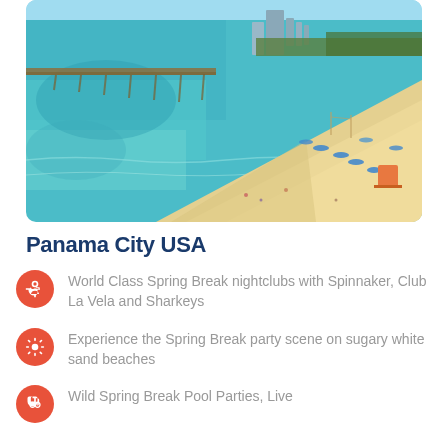[Figure (photo): Aerial view of Panama City Beach, Florida showing turquoise water, a pier, white sandy beach with beach umbrellas and chairs, and city buildings in the background]
Panama City USA
World Class Spring Break nightclubs with Spinnaker, Club La Vela and Sharkeys
Experience the Spring Break party scene on sugary white sand beaches
Wild Spring Break Pool Parties, Live Concerts and Movie Experiences